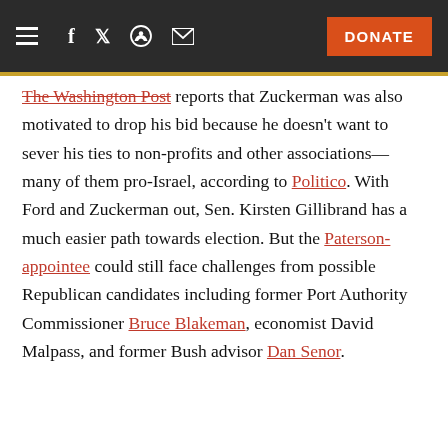Navigation bar with hamburger menu, Facebook, Twitter, Reddit, email icons, and DONATE button
The Washington Post reports that Zuckerman was also motivated to drop his bid because he doesn't want to sever his ties to non-profits and other associations—many of them pro-Israel, according to Politico. With Ford and Zuckerman out, Sen. Kirsten Gillibrand has a much easier path towards election. But the Paterson-appointee could still face challenges from possible Republican candidates including former Port Authority Commissioner Bruce Blakeman, economist David Malpass, and former Bush advisor Dan Senor.